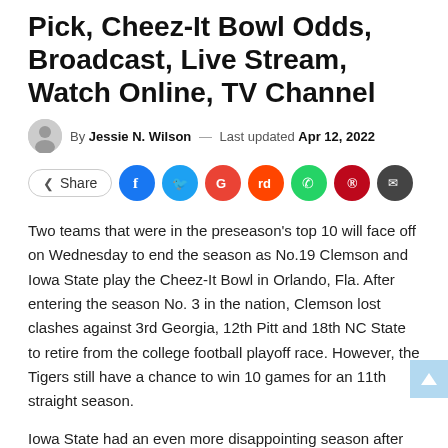Pick, Cheez-It Bowl Odds, Broadcast, Live Stream, Watch Online, TV Channel
By Jessie N. Wilson — Last updated Apr 12, 2022
Share [social media icons: Facebook, Twitter, Google, Reddit, WhatsApp, Pinterest, Email]
Two teams that were in the preseason's top 10 will face off on Wednesday to end the season as No.19 Clemson and Iowa State play the Cheez-It Bowl in Orlando, Fla. After entering the season No. 3 in the nation, Clemson lost clashes against 3rd Georgia, 12th Pitt and 18th NC State to retire from the college football playoff race. However, the Tigers still have a chance to win 10 games for an 11th straight season.
Iowa State had an even more disappointing season after finishing with the Big 12's best record of 2020. The Cyclones'